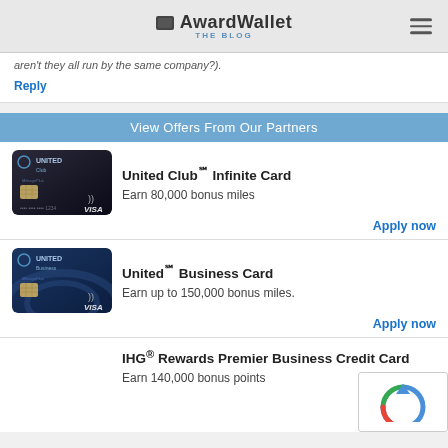AwardWallet THE BLOG
aren't they all run by the same company?).
Reply
View Offers From Our Partners
[Figure (illustration): United Club credit card image (dark/black card with VISA logo)]
United Club℠ Infinite Card
Earn 80,000 bonus miles
Apply now
[Figure (illustration): United Business credit card image (dark blue card with VISA logo)]
United℠ Business Card
Earn up to 150,000 bonus miles.
Apply now
IHG® Rewards Premier Business Credit Card
Earn 140,000 bonus points
Apply now